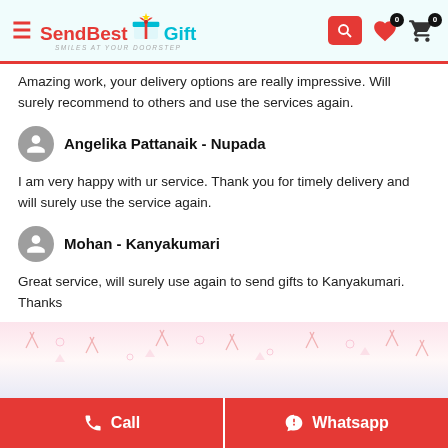[Figure (screenshot): SendBestGift website header with logo, hamburger menu, search icon, heart and cart icons with 0 badges]
Amazing work, your delivery options are really impressive. Will surely recommend to others and use the services again.
Angelika Pattanaik - Nupada
I am very happy with ur service. Thank you for timely delivery and will surely use the service again.
Mohan - Kanyakumari
Great service, will surely use again to send gifts to Kanyakumari. Thanks
[Figure (illustration): Decorative bottom banner with sparkle/confetti pattern in pink and white, partially visible product images]
[Figure (screenshot): Call and Whatsapp red footer buttons]